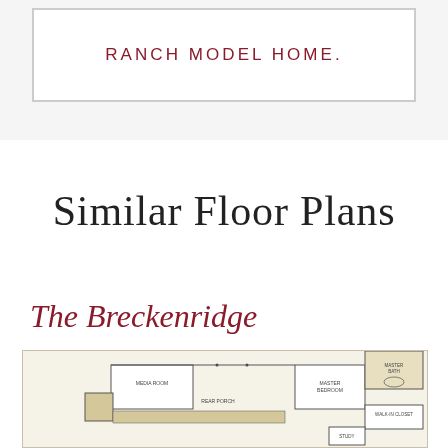RANCH MODEL HOME.
Similar Floor Plans
The Breckenridge
[Figure (engineering-diagram): Floor plan diagram of The Breckenridge ranch home showing rooms including Media Room, Master Bedroom, Master Bath, Walk-in Closet, Rear Porch, and Study]